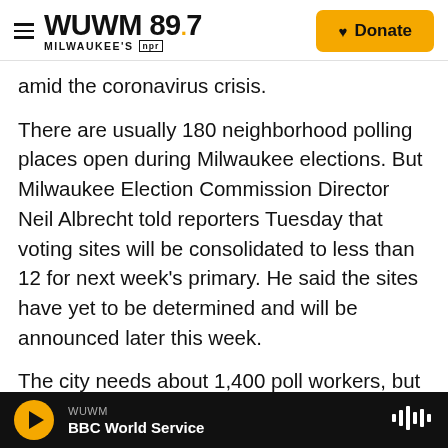WUWM 89.7 MILWAUKEE'S NPR — Donate
amid the coronavirus crisis.
There are usually 180 neighborhood polling places open during Milwaukee elections. But Milwaukee Election Commission Director Neil Albrecht told reporters Tuesday that voting sites will be consolidated to less than 12 for next week's primary. He said the sites have yet to be determined and will be announced later this week.
The city needs about 1,400 poll workers, but many have dropped out because they are concerned about the risks of COVID-19 infection. Albrecht said earlier this week the city was down to 400 election
WUWM — BBC World Service